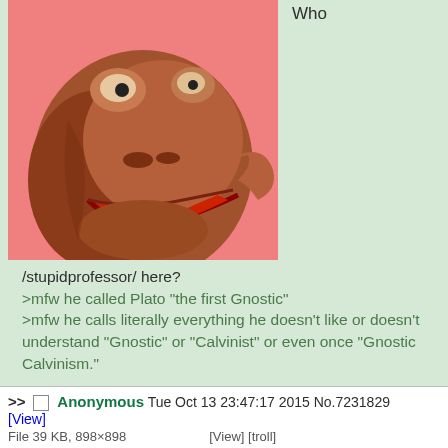[Figure (illustration): Pepe the Frog meme image — angry/distressed expression, brownish-red frog face on a pink/red background]
Who
/stupidprofessor/ here?

>mfw he called Plato "the first Gnostic"
>mfw he calls literally everything he doesn't like or doesn't understand "Gnostic" or "Calvinist" or even once "Gnostic Calvinism."

It's been a long semester.
>> Anonymous Tue Oct 13 23:47:17 2015 No.7231829
[View]
File 39 KB, 898×898 ... [View] [troll]